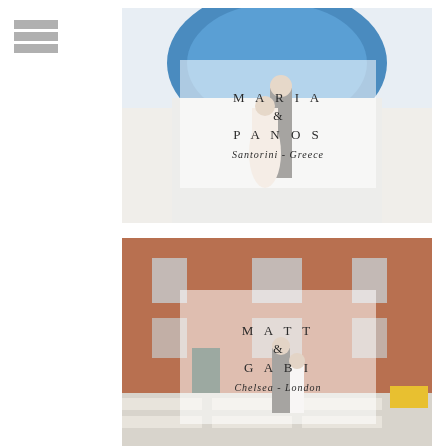[Figure (other): Hamburger/menu icon with three horizontal grey bars on white background, top-left corner]
[Figure (photo): Wedding couple kissing in front of a blue domed church in Santorini, Greece. Overlay text box reads: MARIA & PANOS, Santorini - Greece]
[Figure (photo): Wedding couple walking away on a zebra crossing in front of a red brick building in Chelsea, London. Overlay text box reads: MATT & GABI, Chelsea - London]